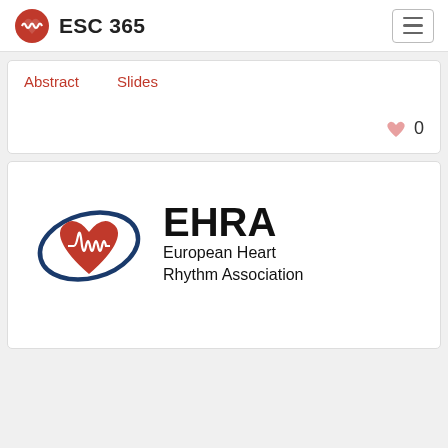ESC 365
Abstract  Slides
0
[Figure (logo): EHRA European Heart Rhythm Association logo with red heart and ECG waveform encircled by blue oval]
What for...